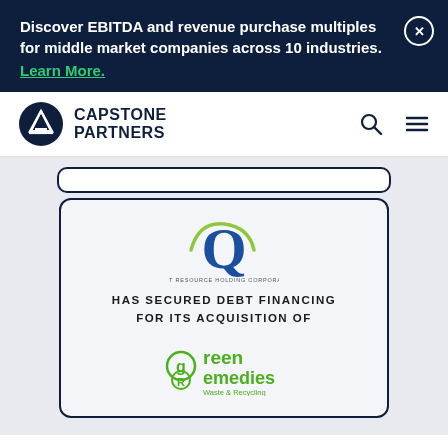Discover EBITDA and revenue purchase multiples for middle market companies across 10 industries. Learn More.
[Figure (logo): Capstone Partners logo with mountain/triangle icon and bold text CAPSTONE PARTNERS]
[Figure (screenshot): Document card showing Quest Resource Holding Corporation logo, text HAS SECURED DEBT FINANCING FOR ITS ACQUISITION OF, and Green Remedies Waste & Recycling logo]
HAS SECURED DEBT FINANCING FOR ITS ACQUISITION OF
[Figure (logo): Green Remedies Waste & Recycling logo in green]